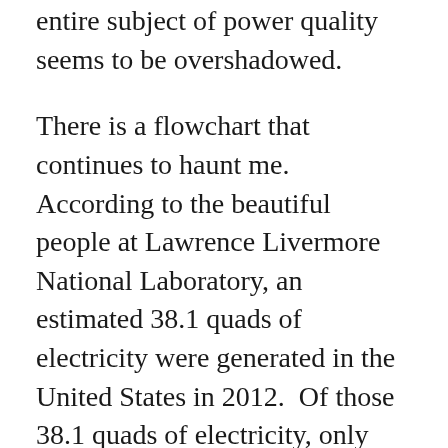… the entire subject of power quality seems to be overshadowed.
There is a flowchart that continues to haunt me.  According to the beautiful people at Lawrence Livermore National Laboratory, an estimated 38.1 quads of electricity were generated in the United States in 2012.  Of those 38.1 quads of electricity, only 12.4 quads were used, and the other 25.7 quads … were, well … lost.  They're gone.  They were generated, by either burning something into thick, black smoke or the elegant swooshing of windmills, and now have returned to the